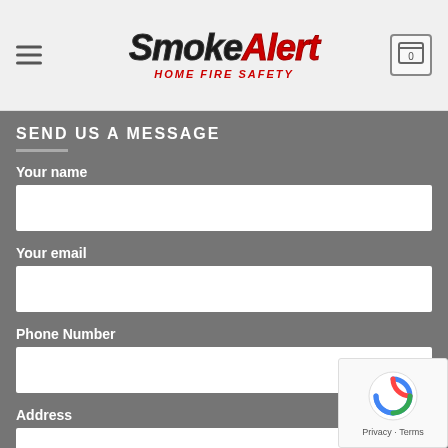[Figure (logo): SmokeAlert Home Fire Safety logo with hamburger menu icon on left and shopping cart with 0 on right]
SEND US A MESSAGE
Your name
Your email
Phone Number
Address
City